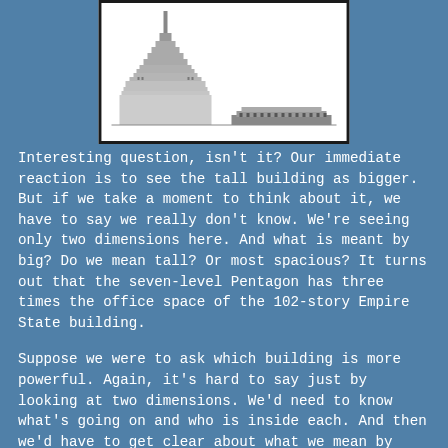[Figure (illustration): Illustration showing tall building (Empire State Building) and wide flat building (Pentagon) side by side, black and white drawing in a white bordered frame]
Interesting question, isn't it? Our immediate reaction is to see the tall building as bigger. But if we take a moment to think about it, we have to say we really don't know. We're seeing only two dimensions here. And what is meant by big? Do we mean tall? Or most spacious? It turns out that the seven-level Pentagon has three times the office space of the 102-story Empire State building.
Suppose we were to ask which building is more powerful. Again, it's hard to say just by looking at two dimensions. We'd need to know what's going on and who is inside each. And then we'd have to get clear about what we mean by powerful.
Male power is often conceived as a hierarchy, a pyramid. Our eyes are inexorably drawn to the top. "Look at how high it goes! It's mostly men at the top